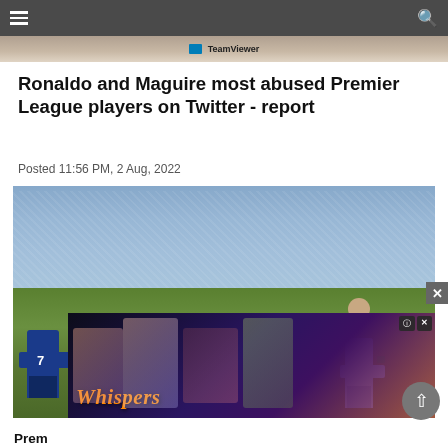Navigation bar with hamburger menu and search icon
[Figure (photo): Top image strip showing partial football match photo with TeamViewer logo/jersey visible]
Ronaldo and Maguire most abused Premier League players on Twitter - report
Posted 11:56 PM, 2 Aug, 2022
[Figure (photo): Football match photo showing players on pitch with crowd in background, includes player with jersey number 7 (Kante) in blue Chelsea kit on left and Manchester City players in light blue. An advertisement overlay for 'Whispers' game is partially covering the bottom of the image.]
Prem...